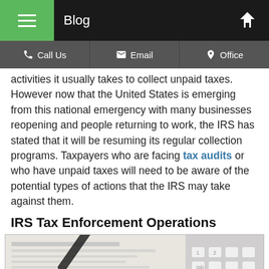Blog
Call Us | Email | Office
activities it usually takes to collect unpaid taxes. However now that the United States is emerging from this national emergency with many businesses reopening and people returning to work, the IRS has stated that it will be resuming its regular collection programs. Taxpayers who are facing tax audits or who have unpaid taxes will need to be aware of the potential types of actions that the IRS may take against them.
IRS Tax Enforcement Operations
[Figure (photo): Photo of IRS tax form 1040 with a pen resting on it and a computer keyboard visible on the right side.]